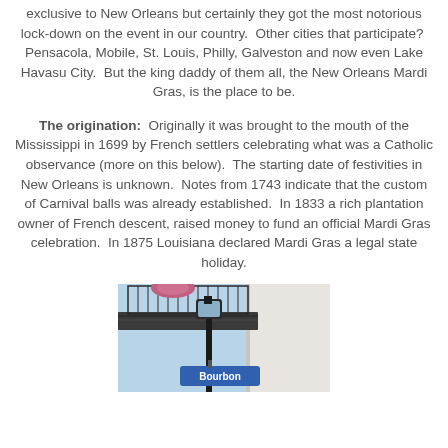exclusive to New Orleans but certainly they got the most notorious lock-down on the event in our country. Other cities that participate? Pensacola, Mobile, St. Louis, Philly, Galveston and now even Lake Havasu City. But the king daddy of them all, the New Orleans Mardi Gras, is the place to be.
The origination: Originally it was brought to the mouth of the Mississippi in 1699 by French settlers celebrating what was a Catholic observance (more on this below). The starting date of festivities in New Orleans is unknown. Notes from 1743 indicate that the custom of Carnival balls was already established. In 1833 a rich plantation owner of French descent, raised money to fund an official Mardi Gras celebration. In 1875 Louisiana declared Mardi Gras a legal state holiday.
[Figure (photo): Street lamp with flowers on a corner in New Orleans, with a blue Bourbon Street sign visible below.]